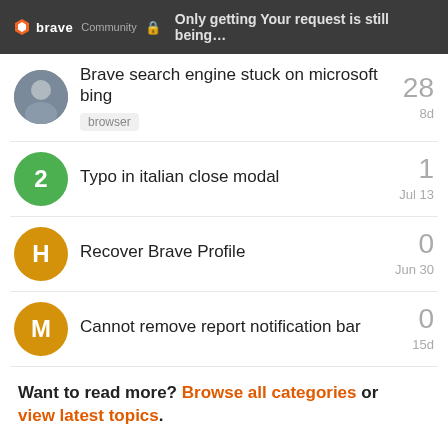🔒 Only getting Your request is still being…
Brave search engine stuck on microsoft bing | browser | 28 | 8d
Typo in italian close modal | 1 | Jul 13
Recover Brave Profile | 0 | Jun 30
Cannot remove report notification bar | 0 | 15d
Want to read more? Browse all categories or view latest topics.